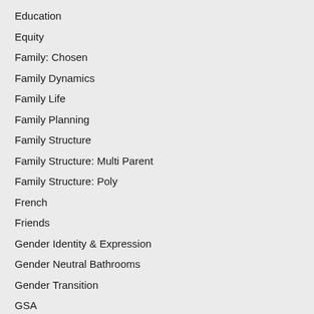Education
Equity
Family: Chosen
Family Dynamics
Family Life
Family Planning
Family Structure
Family Structure: Multi Parent
Family Structure: Poly
French
Friends
Gender Identity & Expression
Gender Neutral Bathrooms
Gender Transition
GSA
Healthcare
Heteronormativity
Homophobia
Human Rights